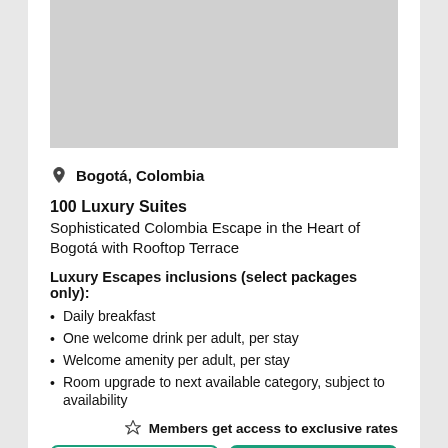[Figure (photo): Hotel or property image placeholder (gray area)]
Bogotá, Colombia
100 Luxury Suites
Sophisticated Colombia Escape in the Heart of Bogotá with Rooftop Terrace
Luxury Escapes inclusions (select packages only):
Daily breakfast
One welcome drink per adult, per stay
Welcome amenity per adult, per stay
Room upgrade to next available category, subject to availability
Members get access to exclusive rates
Log in
Sign up for free